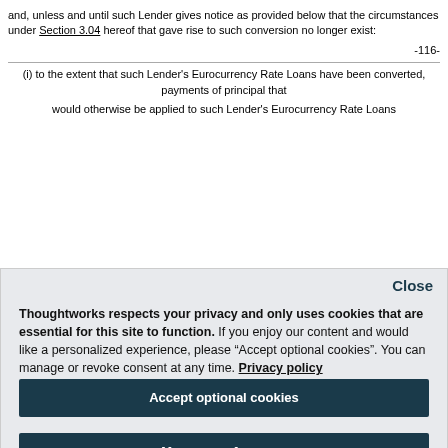and, unless and until such Lender gives notice as provided below that the circumstances under Section 3.04 hereof that gave rise to such conversion no longer exist:
-116-
(i) to the extent that such Lender's Eurocurrency Rate Loans have been converted, payments of principal that would otherwise be applied to such Lender's Eurocurrency Rate Loans
Close
Thoughtworks respects your privacy and only uses cookies that are essential for this site to function. If you enjoy our content and would like a personalized experience, please “Accept optional cookies”. You can manage or revoke consent at any time. Privacy policy
Accept optional cookies
Manage preferences